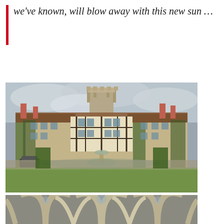we've known, will blow away with this new sun …
[Figure (photo): Exterior photograph of a large English country manor house with Tudor-style architecture, stone and timber-framed façade, ivy-covered walls, chimneys, a central fountain in the foreground, and a lawn. Overcast sky.]
[Figure (photo): Close-up photograph of Gothic stone tracery window from below, with arched stone ribs forming decorative patterns, blurred background.]